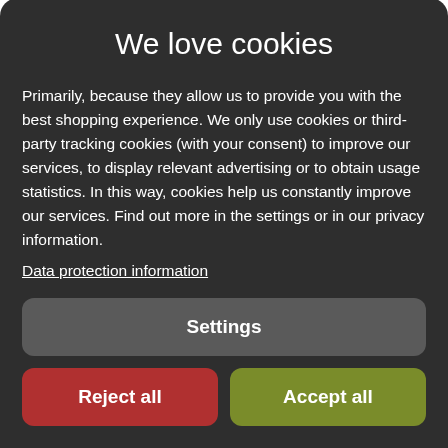I love this product - the smell and the texture are just lovely.
Was this rating helpful?
We love cookies
Primarily, because they allow us to provide you with the best shopping experience. We only use cookies or third-party tracking cookies (with your consent) to improve our services, to display relevant advertising or to obtain usage statistics. In this way, cookies help us constantly improve our services. Find out more in the settings or in our privacy information.
Data protection information
Settings
Reject all
Accept all